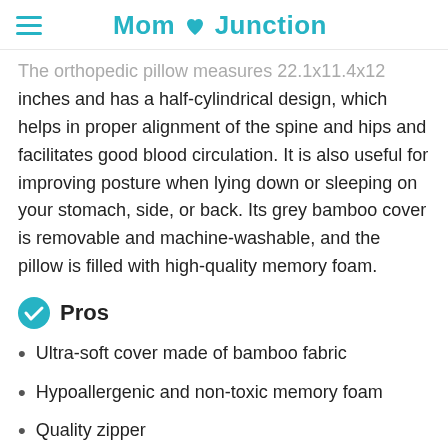Mom Junction
The orthopedic pillow measures 22.1x11.4x12 inches and has a half-cylindrical design, which helps in proper alignment of the spine and hips and facilitates good blood circulation. It is also useful for improving posture when lying down or sleeping on your stomach, side, or back. Its grey bamboo cover is removable and machine-washable, and the pillow is filled with high-quality memory foam.
Pros
Ultra-soft cover made of bamboo fabric
Hypoallergenic and non-toxic memory foam
Quality zipper
Ideal for all sleeping positions